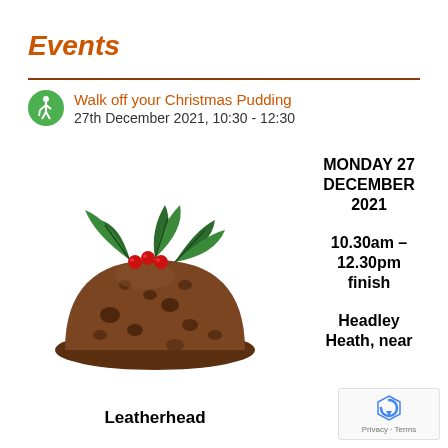Events
Walk off your Christmas Pudding
27th December 2021, 10:30 - 12:30
[Figure (photo): Photo of a traditional Christmas pudding topped with holly leaves and red berries on a white background]
Leatherhead
MONDAY 27 DECEMBER 2021

10.30am – 12.30pm finish

Headley Heath, near